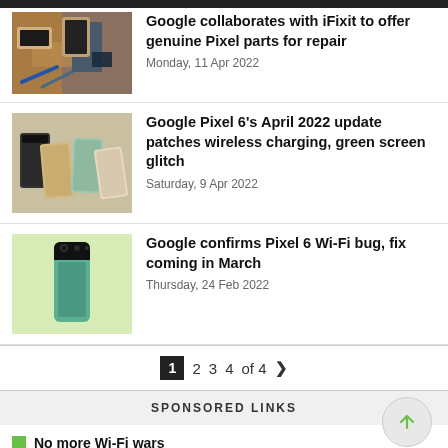[Figure (photo): Smartphones and repair tools scattered on surface - iFixit article thumbnail]
Google collaborates with iFixit to offer genuine Pixel parts for repair
Monday, 11 Apr 2022
[Figure (photo): Multiple Google Pixel 6 phones in different colors laid flat]
Google Pixel 6's April 2022 update patches wireless charging, green screen glitch
Saturday, 9 Apr 2022
[Figure (photo): Google Pixel 6 phone in green/mint color against light green background]
Google confirms Pixel 6 Wi-Fi bug, fix coming in March
Thursday, 24 Feb 2022
1 2 3 4 of 4 >
SPONSORED LINKS
No more Wi-Fi wars
Keep the whole family connected with Singtel's Wi-Fi 6 offerings!